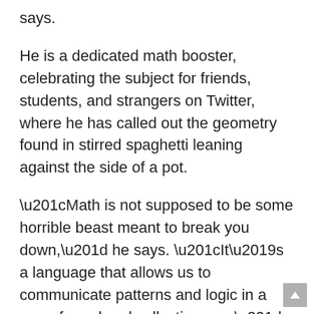says.
He is a dedicated math booster, celebrating the subject for friends, students, and strangers on Twitter, where he has called out the geometry found in stirred spaghetti leaning against the side of a pot.
“Math is not supposed to be some horrible beast meant to break you down,” he says. “It’s a language that allows us to communicate patterns and logic in a more formal and collective way.”